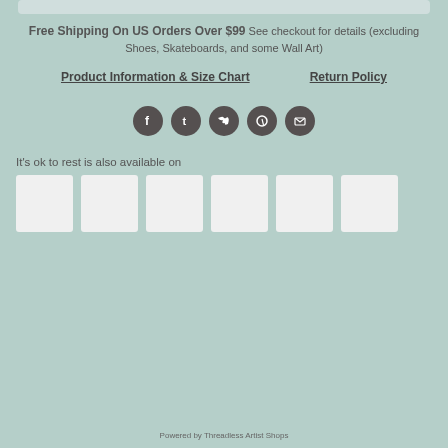Free Shipping On US Orders Over $99 See checkout for details (excluding Shoes, Skateboards, and some Wall Art)
Product Information & Size Chart    Return Policy
[Figure (infographic): Five social media icon circles: Facebook, Tumblr, Twitter, Pinterest, Email]
It's ok to rest is also available on
[Figure (infographic): Six white/light thumbnail product images in a horizontal row]
Powered by Threadless Artist Shops